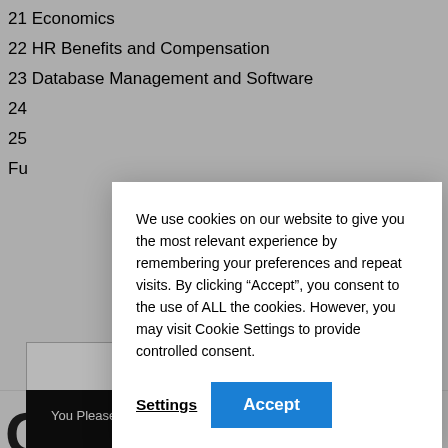21 Economics
22 HR Benefits and Compensation
23 Database Management and Software
24
25
Fu
G
n
We use cookies on our website to give you the most relevant experience by remembering your preferences and repeat visits. By clicking “Accept”, you consent to the use of ALL the cookies. However, you may visit Cookie Settings to provide controlled consent.
Settings
Accept